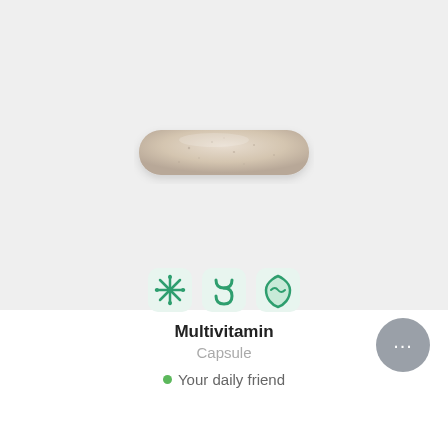[Figure (photo): A single beige/cream oval multivitamin capsule photographed on a light grey background, centered in the upper portion of the image.]
[Figure (illustration): Three small pixel-art style icons in a row: a green snowflake/asterisk shape, a green intestine/gut shape, and a green shield/leaf shape — representing health benefits.]
Multivitamin
Capsule
Your daily friend